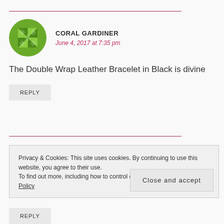[Figure (illustration): Green geometric quilt-pattern avatar for user Coral Gardiner]
CORAL GARDINER
June 4, 2017 at 7:35 pm
The Double Wrap Leather Bracelet in Black is divine
REPLY
Privacy & Cookies: This site uses cookies. By continuing to use this website, you agree to their use. To find out more, including how to control cookies, see here: Cookie Policy
Close and accept
REPLY